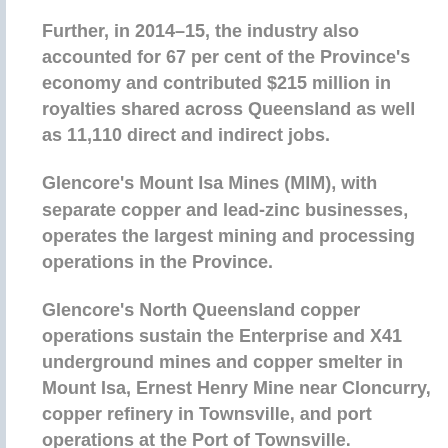Further, in 2014–15, the industry also accounted for 67 per cent of the Province's economy and contributed $215 million in royalties shared across Queensland as well as 11,110 direct and indirect jobs.
Glencore's Mount Isa Mines (MIM), with separate copper and lead-zinc businesses, operates the largest mining and processing operations in the Province.
Glencore's North Queensland copper operations sustain the Enterprise and X41 underground mines and copper smelter in Mount Isa, Ernest Henry Mine near Cloncurry, copper refinery in Townsville, and port operations at the Port of Townsville.
Together, this integrated supply chain employs around 3150 people. Glencore's zinc